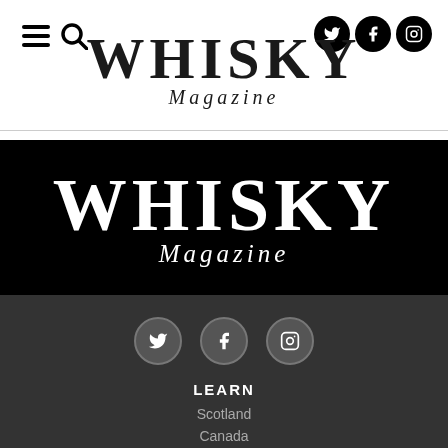Whisky Magazine - Navigation header with hamburger menu, search icon, and social icons (Twitter, Facebook, Instagram)
[Figure (logo): Whisky Magazine logo - top header version, dark text on white background]
[Figure (logo): Whisky Magazine logo - banner version, white text on black background]
[Figure (logo): Social media icons (Twitter, Facebook, Instagram) in circular buttons, white on dark grey footer]
LEARN
Scotland
Canada